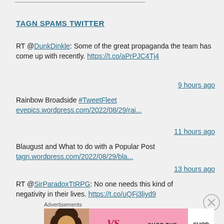TAGN SPAMS TWITTER
RT @DunkDinkle: Some of the great propaganda the team has come up with recently. https://t.co/aPrPJC4Tj4
9 hours ago
Rainbow Broadside #TweetFleet evepics.wordpress.com/2022/08/29/rai...
11 hours ago
Blaugust and What to do with a Popular Post tagn.wordpress.com/2022/08/29/bla...
13 hours ago
RT @SirParadoxTtRPG: No one needs this kind of negativity in their lives. https://t.co/uQFj3liyd9
[Figure (illustration): Victoria's Secret advertisement banner with a model photo on the left, VS logo in the center on pink background, and a Shop Now button on the right. Text reads: SHOP THE COLLECTION, SHOP NOW]